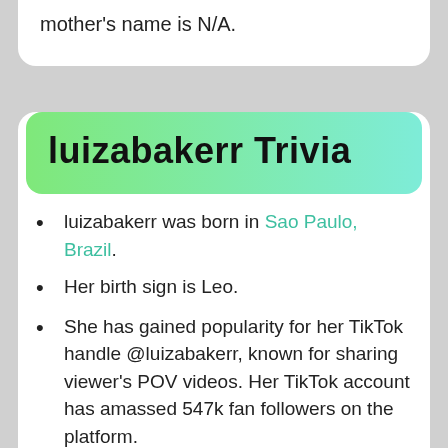mother's name is N/A.
luizabakerr Trivia
luizabakerr was born in Sao Paulo, Brazil.
Her birth sign is Leo.
She has gained popularity for her TikTok handle @luizabakerr, known for sharing viewer's POV videos. Her TikTok account has amassed 547k fan followers on the platform.
She has an Instagram account under the